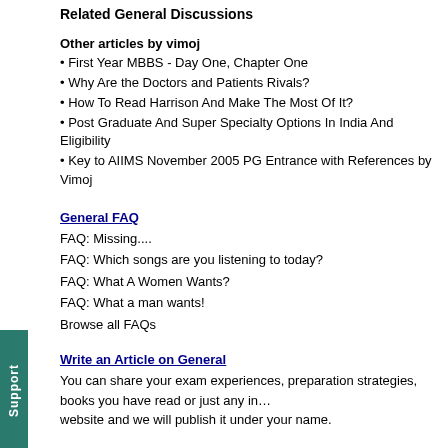Related General Discussions
Other articles by vimoj
• First Year MBBS - Day One, Chapter One
• Why Are the Doctors and Patients Rivals?
• How To Read Harrison And Make The Most Of It?
• Post Graduate And Super Specialty Options In India And Eligibility
• Key to AIIMS November 2005 PG Entrance with References by Vimoj
General FAQ
FAQ: Missing....
FAQ: Which songs are you listening to today?
FAQ: What A Women Wants?
FAQ: What a man wants!
Browse all FAQs
Write an Article on General
You can share your exam experiences, preparation strategies, books you have read or just any in... website and we will publish it under your name.